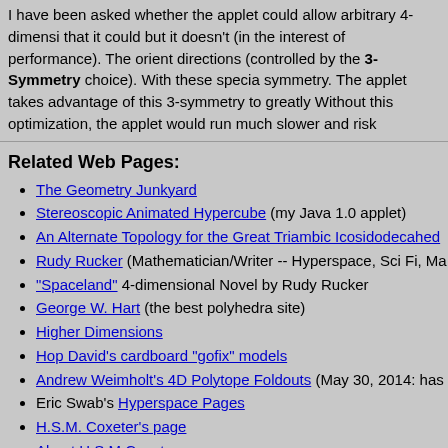I have been asked whether the applet could allow arbitrary 4-dimensions that it could but it doesn't (in the interest of performance). The orient directions (controlled by the 3-Symmetry choice). With these specia symmetry. The applet takes advantage of this 3-symmetry to greatly Without this optimization, the applet would run much slower and risk
Related Web Pages:
The Geometry Junkyard
Stereoscopic Animated Hypercube (my Java 1.0 applet)
An Alternate Topology for the Great Triambic Icosidodecahed
Rudy Rucker (Mathematician/Writer -- Hyperspace, Sci Fi, Ma
"Spaceland" 4-dimensional Novel by Rudy Rucker
George W. Hart (the best polyhedra site)
Higher Dimensions
Hop David's cardboard "gofix" models
Andrew Weimholt's 4D Polytope Foldouts (May 30, 2014: has
Eric Swab's Hyperspace Pages
H.S.M. Coxeter's page
About H.S.M Coxeter
Version Notes: